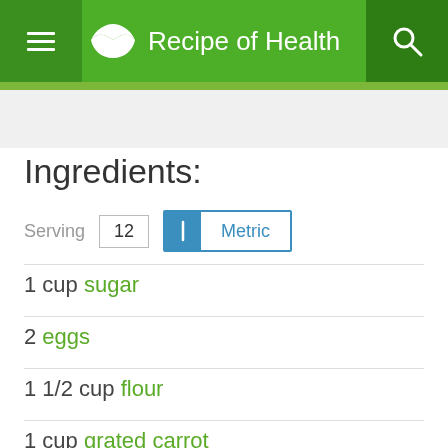Recipe of Health
Ingredients:
Serving 12 | Metric
1 cup sugar
2 eggs
1 1/2 cup flour
1 cup grated carrot